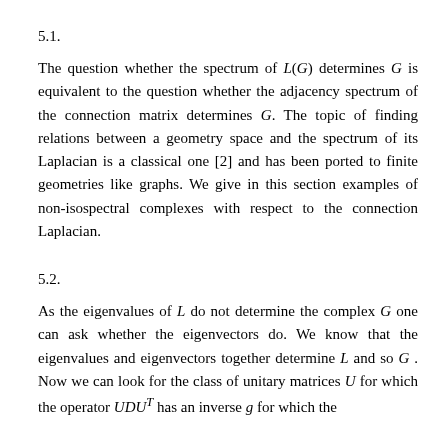5.1.
The question whether the spectrum of L(G) determines G is equivalent to the question whether the adjacency spectrum of the connection matrix determines G. The topic of finding relations between a geometry space and the spectrum of its Laplacian is a classical one [2] and has been ported to finite geometries like graphs. We give in this section examples of non-isospectral complexes with respect to the connection Laplacian.
5.2.
As the eigenvalues of L do not determine the complex G one can ask whether the eigenvectors do. We know that the eigenvalues and eigenvectors together determine L and so G . Now we can look for the class of unitary matrices U for which the operator UDUᵀ has an inverse g for which the